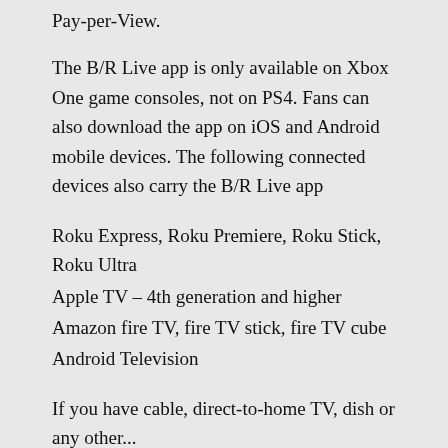Pay-per-View.
The B/R Live app is only available on Xbox One game consoles, not on PS4. Fans can also download the app on iOS and Android mobile devices. The following connected devices also carry the B/R Live app
Roku Express, Roku Premiere, Roku Stick, Roku Ultra
Apple TV – 4th generation and higher
Amazon fire TV, fire TV stick, fire TV cube
Android Television
If you have cable, direct-to-home TV, dish or any other...